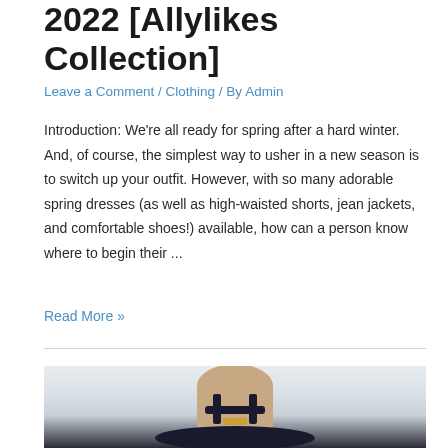2022 [Allylikes Collection]
Leave a Comment / Clothing / By Admin
Introduction: We're all ready for spring after a hard winter. And, of course, the simplest way to usher in a new season is to switch up your outfit. However, with so many adorable spring dresses (as well as high-waisted shorts, jean jackets, and comfortable shoes!) available, how can a person know where to begin their ...
Read More »
[Figure (photo): Close-up photo of a person's feet/ankles wearing black strappy high-heeled sandals with a gold accent, against a light grey background]